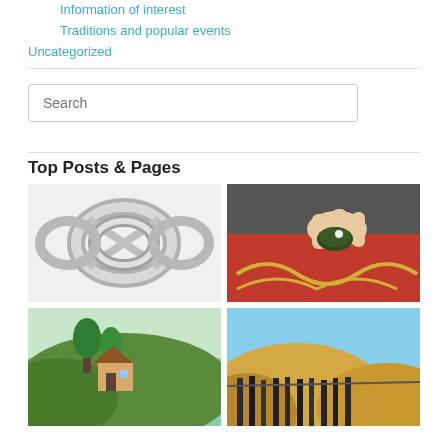Information of interest
Traditions and popular events
Uncategorized
Search
Top Posts & Pages
[Figure (photo): Silver braided puzzle ring on white background]
[Figure (photo): Hands holding a small dark green object, with red embroidered fabric below]
[Figure (photo): Traditional wooden house on hillside with trees]
[Figure (photo): Rolling golden hills with hanging dark textiles or vegetation]